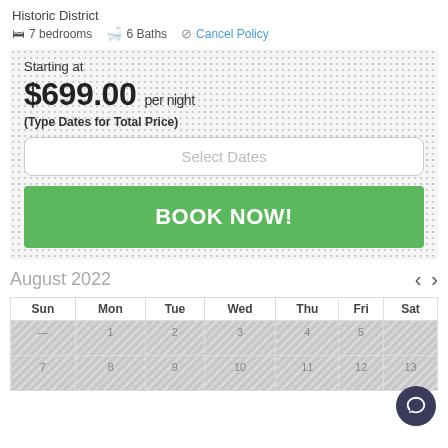Historic District
7 bedrooms   6 Baths   Cancel Policy
Starting at
$699.00 per night
(Type Dates for Total Price)
Select Dates
BOOK NOW!
August 2022
| Sun | Mon | Tue | Wed | Thu | Fri | Sat |
| --- | --- | --- | --- | --- | --- | --- |
| — | 1 | 2 | 3 | 4 | 5 |  |
| 7 | 8 | 9 | 10 | 11 | 12 | 13 |